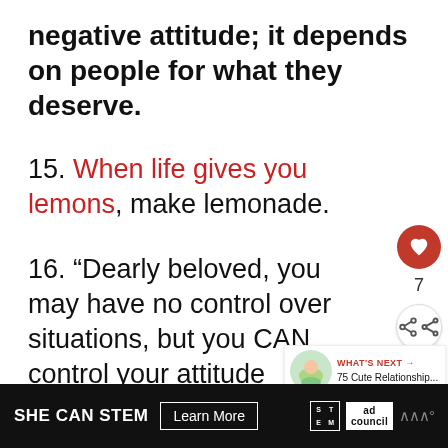negative attitude; it depends on people for what they deserve.
15. When life gives you lemons, make lemonade.
16. “Dearly beloved, you may have no control over situations, but you CAN control your attitude response to them.” – Ruckey Peniel
17. It doesn’t matter how big your
[Figure (infographic): Social interaction buttons: heart/like button (red circle with heart icon), count of 7, and share button]
[Figure (infographic): What's Next card showing a woman with salad and text: 75 Cute Relationship...]
[Figure (infographic): Advertisement banner: SHE CAN STEM with Learn More button, STEM grid logo, Ad Council logo, and wave icon]